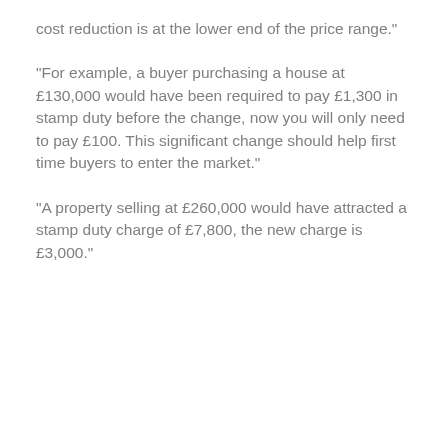cost reduction is at the lower end of the price range."
"For example, a buyer purchasing a house at £130,000 would have been required to pay £1,300 in stamp duty before the change, now you will only need to pay £100. This significant change should help first time buyers to enter the market."
"A property selling at £260,000 would have attracted a stamp duty charge of £7,800, the new charge is £3,000."